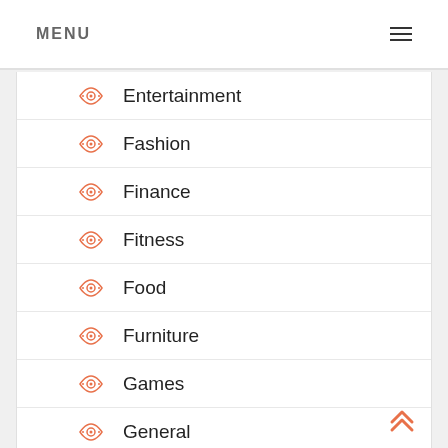MENU
Entertainment
Fashion
Finance
Fitness
Food
Furniture
Games
General
Health